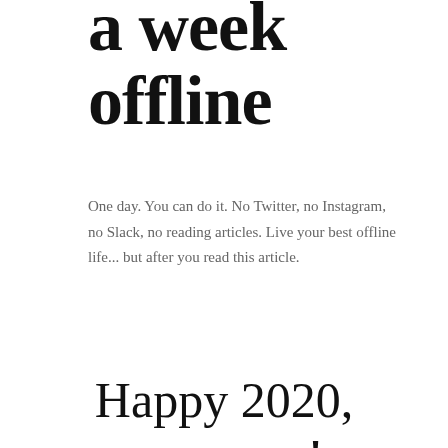a week offline
One day. You can do it. No Twitter, no Instagram, no Slack, no reading articles. Live your best offline life... but after you read this article.
Happy 2020, everyone! Let's get these goals.